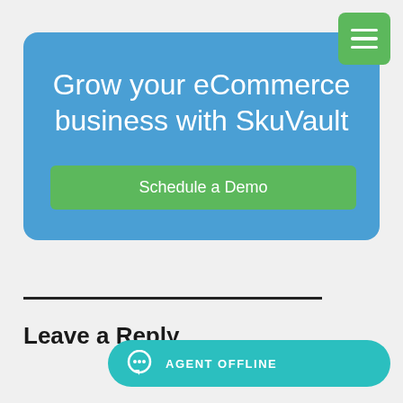[Figure (screenshot): Green hamburger menu button with three white horizontal lines]
Grow your eCommerce business with SkuVault
Schedule a Demo
Leave a Reply
[Figure (infographic): Teal chat agent offline button with speech bubble icon and text AGENT OFFLINE]